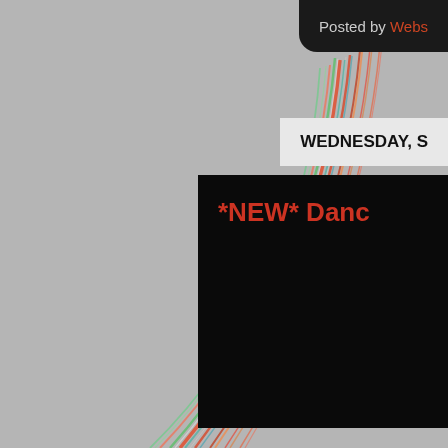[Figure (illustration): Abstract colorful light streaks (red, green, teal, orange) arcing across a grey background, suggesting motion or fiber optic lights]
Posted by Webs
WEDNESDAY, S
*NEW* Danc